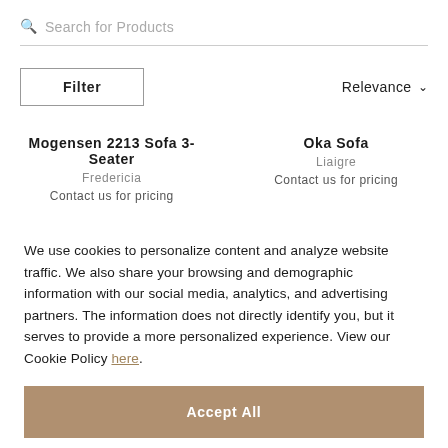Search for Products
Filter
Relevance
Mogensen 2213 Sofa 3-Seater
Fredericia
Contact us for pricing
Oka Sofa
Liaigre
Contact us for pricing
We use cookies to personalize content and analyze website traffic. We also share your browsing and demographic information with our social media, analytics, and advertising partners. The information does not directly identify you, but it serves to provide a more personalized experience. View our Cookie Policy here.
Accept All
Cookie Settings